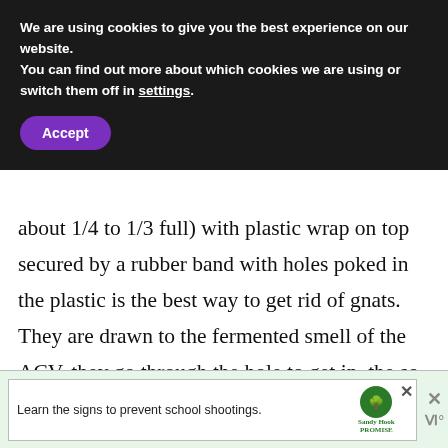We are using cookies to give you the best experience on our website.
You can find out more about which cookies we are using or switch them off in settings.
Accept
about 1/4 to 1/3 full) with plastic wrap on top secured by a rubber band with holes poked in the plastic is the best way to get rid of gnats. They are drawn to the fermented smell of the ACV, they go through the hole to get in, the so in the liquid traps them and they die. You can set up multiple jars since you have a bad infestation.
WHAT'S NEXT → 10 Tips To Stay Safe...
Learn the signs to prevent school shootings.